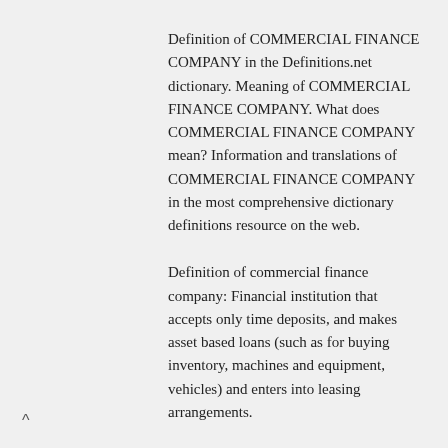Definition of COMMERCIAL FINANCE COMPANY in the Definitions.net dictionary. Meaning of COMMERCIAL FINANCE COMPANY. What does COMMERCIAL FINANCE COMPANY mean? Information and translations of COMMERCIAL FINANCE COMPANY in the most comprehensive dictionary definitions resource on the web.
Definition of commercial finance company: Financial institution that accepts only time deposits, and makes asset based loans (such as for buying inventory, machines and equipment, vehicles) and enters into leasing arrangements.